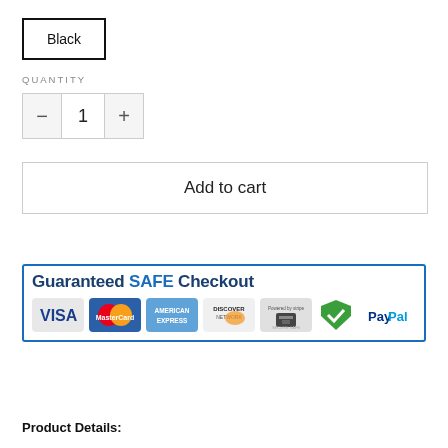Black
QUANTITY
- 1 +
Add to cart
[Figure (infographic): Guaranteed SAFE Checkout banner with payment method logos: VISA, MasterCard, American Express, Discover Network, Stripe, checkmark shield (ACT-EMV), PayPal]
Product Details: